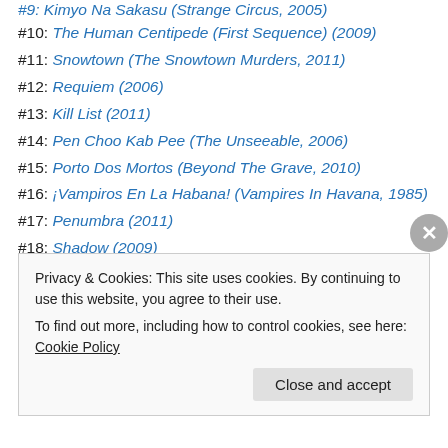#9: Kimyo Na Sakasu (Strange Circus, 2005)
#10: The Human Centipede (First Sequence) (2009)
#11: Snowtown (The Snowtown Murders, 2011)
#12: Requiem (2006)
#13: Kill List (2011)
#14: Pen Choo Kab Pee (The Unseeable, 2006)
#15: Porto Dos Mortos (Beyond The Grave, 2010)
#16: ¡Vampiros En La Habana! (Vampires In Havana, 1985)
#17: Penumbra (2011)
#18: Shadow (2009)
Privacy & Cookies: This site uses cookies. By continuing to use this website, you agree to their use. To find out more, including how to control cookies, see here: Cookie Policy
Close and accept